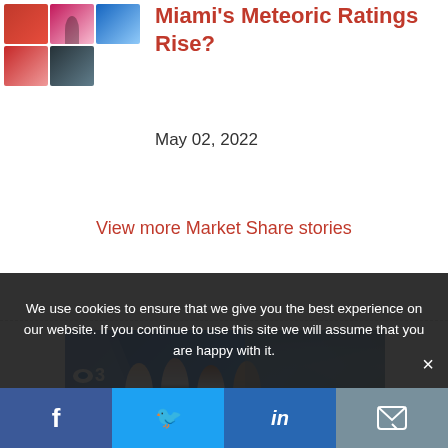[Figure (photo): Thumbnail strip of news article images]
Miami's Meteoric Ratings Rise?
May 02, 2022
View more Market Share stories
[Figure (photo): CBS 3 Eyewitness News studio with anchors seated at desk in front of blue set with CBS logo]
We use cookies to ensure that we give you the best experience on our website. If you continue to use this site we will assume that you are happy with it.